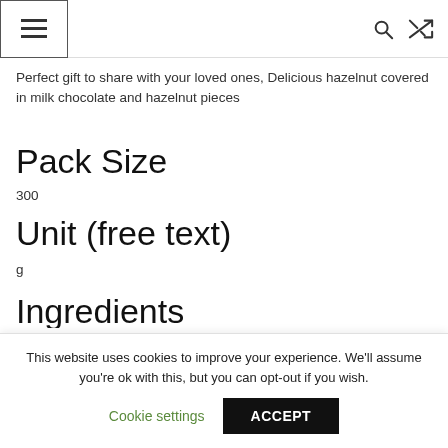[Menu icon, Search icon, Shuffle icon]
Perfect gift to share with your loved ones, Delicious hazelnut covered in milk chocolate and hazelnut pieces
Pack Size
300
Unit (free text)
g
Ingredients
This website uses cookies to improve your experience. We'll assume you're ok with this, but you can opt-out if you wish.
Cookie settings  ACCEPT